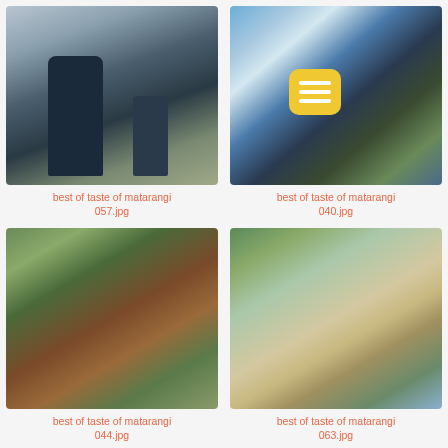[Figure (photo): Musician in blue suit playing instrument on stage with another musician in background]
best of taste of matarangi 057.jpg
[Figure (photo): Person playing keyboard at outdoor festival with large crowd and marquee tents in background, yellow menu icon overlay]
best of taste of matarangi 040.jpg
[Figure (photo): Mascot character in costume lying on grass with crowd of spectators in background]
best of taste of matarangi 044.jpg
[Figure (photo): Smiling woman wearing straw hat and sunglasses at outdoor festival with blurred crowd in background]
best of taste of matarangi 063.jpg